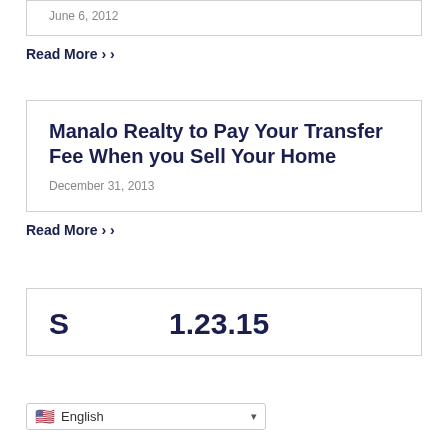June 6, 2012
Read More >
Manalo Realty to Pay Your Transfer Fee When you Sell Your Home
December 31, 2013
Read More >
S AVE THE DATE 1.23.15
English